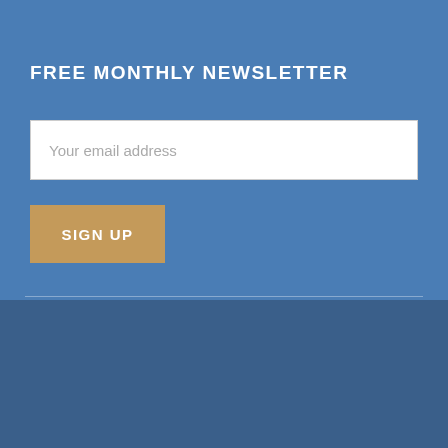FREE MONTHLY NEWSLETTER
Your email address
SIGN UP
The FM Report Copyright © 2022 · All Rights Reserved | Contact Us . Privacy Policy . Terms & Conditions